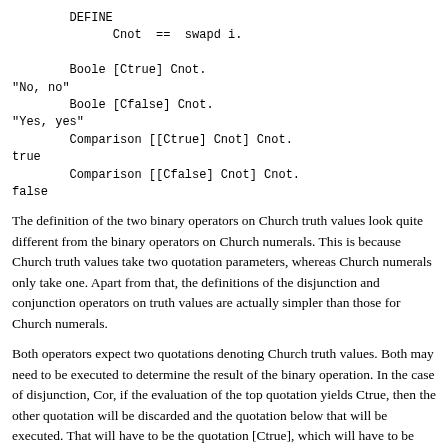DEFINE
    Cnot  ==  swapd i.

    Boole [Ctrue] Cnot.
"No, no"
    Boole [Cfalse] Cnot.
"Yes, yes"
    Comparison [[Ctrue] Cnot] Cnot.
true
    Comparison [[Cfalse] Cnot] Cnot.
false
The definition of the two binary operators on Church truth values look quite different from the binary operators on Church numerals. This is because Church truth values take two quotation parameters, whereas Church numerals only take one. Apart from that, the definitions of the disjunction and conjunction operators on truth values are actually simpler than those for Church numerals.
Both operators expect two quotations denoting Church truth values. Both may need to be executed to determine the result of the binary operation. In the case of disjunction, Cor, if the evaluation of the top quotation yields Ctrue, then the other quotation will be discarded and the quotation below that will be executed. That will have to be the quotation [Ctrue], which will have to be placed there before Cor can execute the top quotation. On the other hand, if the evaluation of the top quotation yields Cfalse, then the added